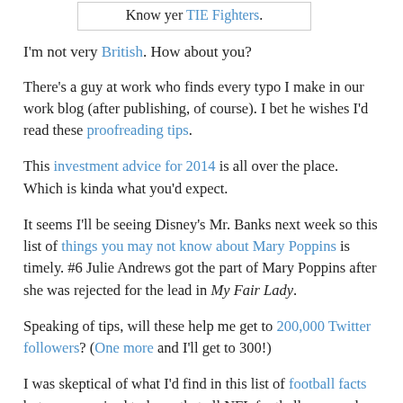[Figure (screenshot): A box/widget with text: Know yer TIE Fighters. with 'TIE Fighters' as a hyperlink.]
I'm not very British. How about you?
There's a guy at work who finds every typo I make in our work blog (after publishing, of course). I bet he wishes I'd read these proofreading tips.
This investment advice for 2014 is all over the place. Which is kinda what you'd expect.
It seems I'll be seeing Disney's Mr. Banks next week so this list of things you may not know about Mary Poppins is timely. #6 Julie Andrews got the part of Mary Poppins after she was rejected for the lead in My Fair Lady.
Speaking of tips, will these help me get to 200,000 Twitter followers? (One more and I'll get to 300!)
I was skeptical of what I'd find in this list of football facts but was surprised to learn that all NFL footballs are made in Ada, Ohio.